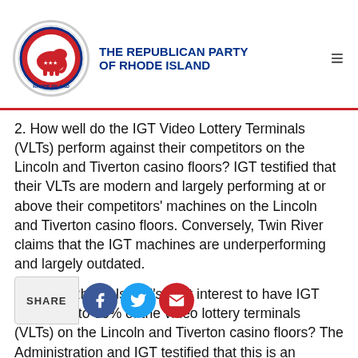The Republican Party of Rhode Island
2. How well do the IGT Video Lottery Terminals (VLTs) perform against their competitors on the Lincoln and Tiverton casino floors? IGT testified that their VLTs are modern and largely performing at or above their competitors' machines on the Lincoln and Tiverton casino floors. Conversely, Twin River claims that the IGT machines are underperforming and largely outdated.
3. Is it in Rhode Island's best interest to have IGT supply up to 85% of the video lottery terminals (VLTs) on the Lincoln and Tiverton casino floors? The Administration and IGT testified that this is an acceptable provision in the proposed IGT contract, which includes performance metrics to ensure IGT's VLTs maximize revenue. On the other hand, Twin River contends that state revenues will be hurt if a competitor controls of the casino floor, because it restricts competition by limiting the